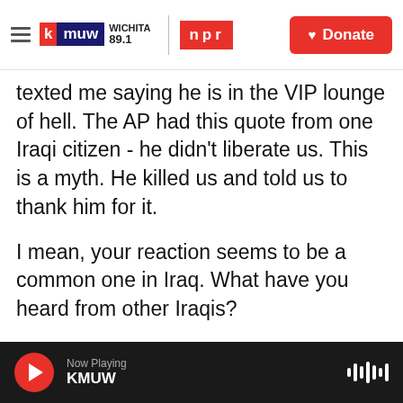KMUW Wichita 89.1 | NPR | Donate
texted me saying he is in the VIP lounge of hell. The AP had this quote from one Iraqi citizen - he didn't liberate us. This is a myth. He killed us and told us to thank him for it.
I mean, your reaction seems to be a common one in Iraq. What have you heard from other Iraqis?
ANTOON: My earliest memory of Mr. Donald Rumsfeld is when I was a teenager in our living room in Baghdad, I saw on the evening news Saddam Hussein receiving Donald Rumsfeld, who was the emissary of President Ronald Reagan. And the United States was heavily supporting Saddam
Now Playing KMUW